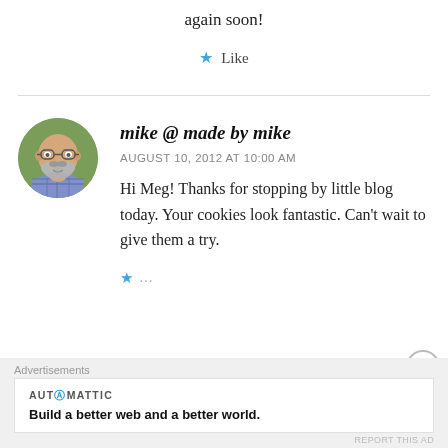again soon!
★ Like
mike @ made by mike
AUGUST 10, 2012 AT 10:00 AM
Hi Meg! Thanks for stopping by little blog today. Your cookies look fantastic. Can't wait to give them a try.
[Figure (photo): Circular avatar photo of a bald man with glasses and a beard, wearing a plaid shirt, outdoors with green foliage background.]
Advertisements
AUTOMATTIC
Build a better web and a better world.